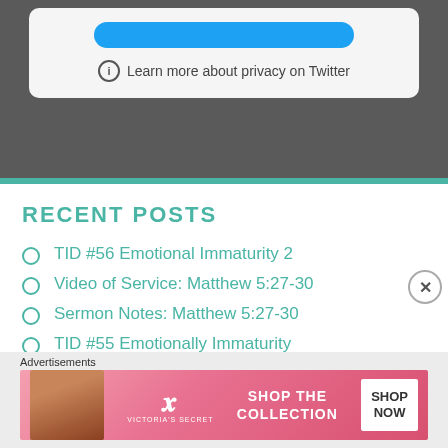[Figure (screenshot): Twitter privacy card with a blue button and 'Learn more about privacy on Twitter' text with info icon]
RECENT POSTS
TID #56 Emotional Immaturity 2
Video of Service: Matthew 5:27-30
Sermon Notes: Matthew 5:27-30
TID #55 Emotionally Immaturity
Video and Updated Sermon Notes: Matthew 5:21-26
[Figure (screenshot): Victoria's Secret advertisement banner: 'SHOP THE COLLECTION' with SHOP NOW button and model photo]